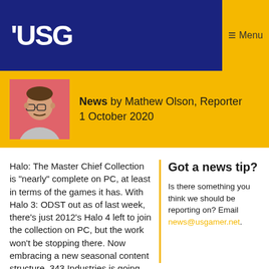USG
News by Mathew Olson, Reporter
1 October 2020
Halo: The Master Chief Collection is "nearly" complete on PC, at least in terms of the games it has. With Halo 3: ODST out as of last week, there's just 2012's Halo 4 left to join the collection on PC, but the work won't be stopping there. Now embracing a new seasonal content structure, 343 Industries is going back and adding additional content to old Halo titles—and, with next season's launch, that'll include cosmetics that missed the cut in Reach.
Got a news tip?
Is there something you think we should be reporting on? Email news@usgamer.net.